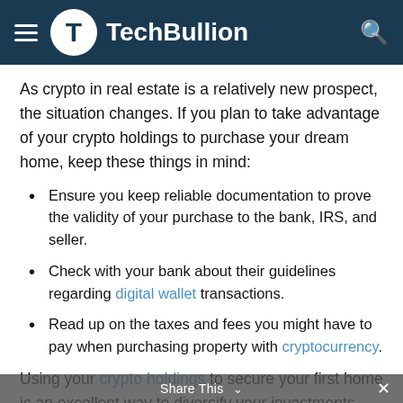TechBullion
As crypto in real estate is a relatively new prospect, the situation changes. If you plan to take advantage of your crypto holdings to purchase your dream home, keep these things in mind:
Ensure you keep reliable documentation to prove the validity of your purchase to the bank, IRS, and seller.
Check with your bank about their guidelines regarding digital wallet transactions.
Read up on the taxes and fees you might have to pay when purchasing property with cryptocurrency.
Using your crypto holdings to secure your first home is an excellent way to diversify your investments and climb the property ladder. However, make sure you're aware of all the ins and outs to avoid making the home buying process any more stressful than it needs to be.